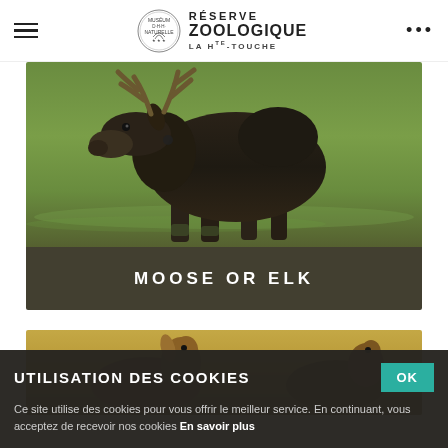RÉSERVE ZOOLOGIQUE LA Hᴞᴞ-TOUCHE
[Figure (photo): A large moose (elk) standing in greenish water, viewed from the side, with large antlers visible, dark brown fur. Photo card with dark olive caption bar at bottom reading MOOSE OR ELK.]
MOOSE OR ELK
[Figure (photo): Partial photo of deer in a golden-brown grassy field, partially obscured by cookie consent banner.]
UTILISATION DES COOKIES
Ce site utilise des cookies pour vous offrir le meilleur service. En continuant, vous acceptez de recevoir nos cookies En savoir plus